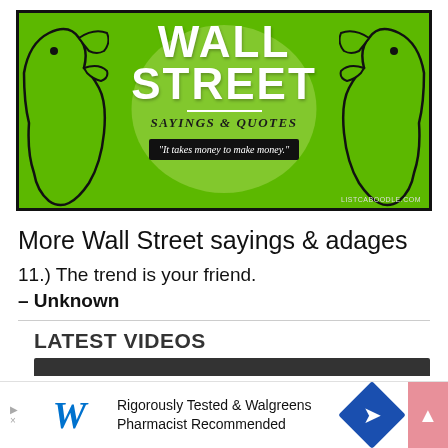[Figure (illustration): Wall Street Sayings & Quotes banner image with green background, bull and bear silhouettes, large white text reading WALL STREET, subtitle SAYINGS & QUOTES, and a quote box reading 'It takes money to make money.' with listcaboodle.com credit]
More Wall Street sayings & adages
11.) The trend is your friend.
– Unknown
LATEST VIDEOS
[Figure (screenshot): Walgreens advertisement: Rigorously Tested & Walgreens Pharmacist Recommended]